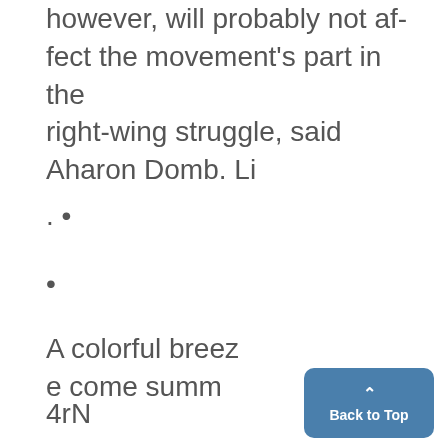however, will probably not affect the movement's part in the right-wing struggle, said Aharon Domb. Li
. •
•
A colorful breeze come summ
4rN